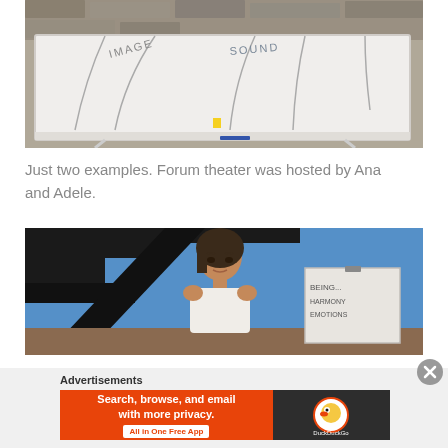[Figure (photo): A whiteboard on a stand outdoors with curved lines and words written on it including IMAGE and SOUND, set against a stone wall background.]
Just two examples. Forum theater was hosted by Ana and Adele.
[Figure (photo): A woman with dark hair in a white sleeveless top standing outdoors with a blue sky and dark structural beams behind her, next to a whiteboard or flipchart with writing on it.]
Advertisements
[Figure (screenshot): DuckDuckGo advertisement banner: orange section with text 'Search, browse, and email with more privacy. All in One Free App' and dark section with DuckDuckGo logo.]